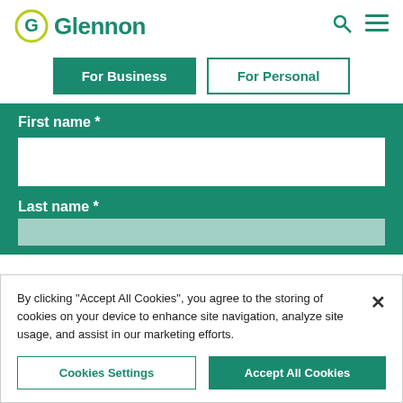[Figure (logo): Glennon logo with green circular G icon and green text 'Glennon']
For Business
For Personal
First name *
Last name *
By clicking “Accept All Cookies”, you agree to the storing of cookies on your device to enhance site navigation, analyze site usage, and assist in our marketing efforts.
Cookies Settings
Accept All Cookies